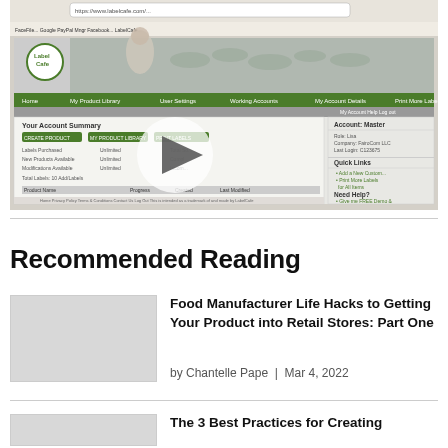[Figure (screenshot): Screenshot of a web browser showing the LabelCafe website with an Account Summary dashboard, navigation menu, product library details, and a play button overlay indicating a video]
Recommended Reading
Food Manufacturer Life Hacks to Getting Your Product into Retail Stores: Part One
by Chantelle Pape | Mar 4, 2022
The 3 Best Practices for Creating